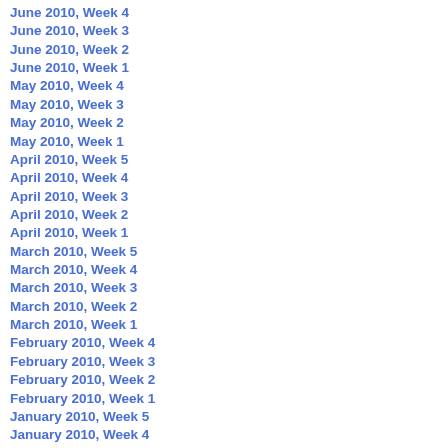June 2010, Week 4
June 2010, Week 3
June 2010, Week 2
June 2010, Week 1
May 2010, Week 4
May 2010, Week 3
May 2010, Week 2
May 2010, Week 1
April 2010, Week 5
April 2010, Week 4
April 2010, Week 3
April 2010, Week 2
April 2010, Week 1
March 2010, Week 5
March 2010, Week 4
March 2010, Week 3
March 2010, Week 2
March 2010, Week 1
February 2010, Week 4
February 2010, Week 3
February 2010, Week 2
February 2010, Week 1
January 2010, Week 5
January 2010, Week 4
January 2010, Week 3
January 2010, Week 2
January 2010, Week 1
December 2009, Week 5
December 2009, Week 4
December 2009, Week 3